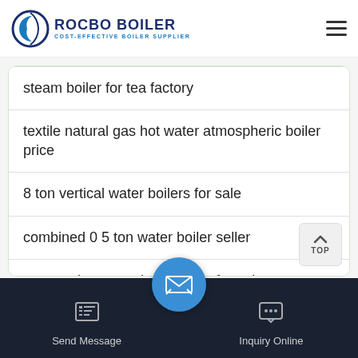ROCBO BOILER - COST-EFFECTIVE BOILER SUPPLIER
steam boiler for tea factory
textile natural gas hot water atmospheric boiler price
8 ton vertical water boilers for sale
combined 0 5 ton water boiler seller
vacuum hot water boiler manufacturing companies in asia
boiler agent run on diesel
Send Message | Inquiry Online